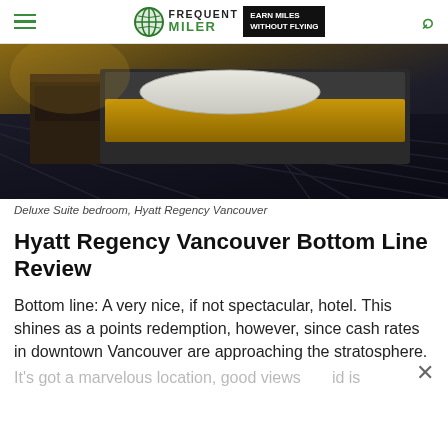FREQUENT MILER | EARN MILES WITHOUT FLYING
[Figure (photo): Deluxe Suite bedroom at Hyatt Regency Vancouver — a bed with white pillow and yellow/gold bedding visible, dark striped carpet floor, dark wooden nightstand, low-angle perspective shot in dim lighting.]
Deluxe Suite bedroom, Hyatt Regency Vancouver
Hyatt Regency Vancouver Bottom Line Review
Bottom line: A very nice, if not spectacular, hotel. This shines as a points redemption, however, since cash rates in downtown Vancouver are approaching the stratosphere.
It's got a marvelous location, good views and is a notch up from a standard hotel room.